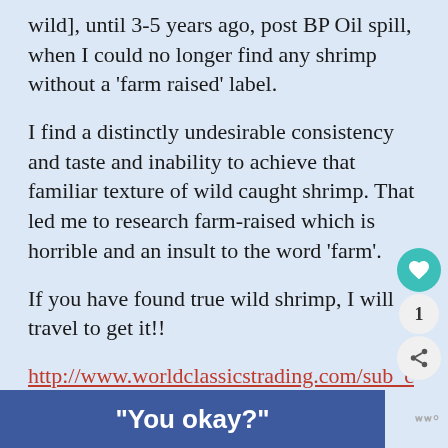wild], until 3-5 years ago, post BP Oil spill, when I could no longer find any shrimp without a 'farm raised' label.
I find a distinctly undesirable consistency and taste and inability to achieve that familiar texture of wild caught shrimp. That led me to research farm-raised which is horrible and an insult to the word 'farm'.
If you have found true wild shrimp, I will travel to get it!!
http://www.worldclassicstrading.com/sub_categories/26
“You okay?”